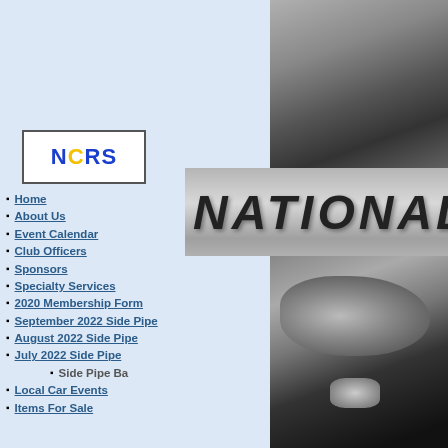[Figure (photo): Top right photo showing a dark gravel or asphalt surface with shadows]
[Figure (logo): NCRS logo in a white bordered box with blue and yellow text]
[Figure (other): Banner reading NATIONAL COR in large gray metallic italic letters]
[Figure (photo): Bottom right photo of a silver Corvette front end in a parking lot]
Home
About Us
Event Calendar
Club Officers
Sponsors
Specialty Services
2020 Membership Form
September 2022 Side Pipe
August 2022 Side Pipe
July 2022 Side Pipe
Side Pipe Ba
Local Car Events
Items For Sale